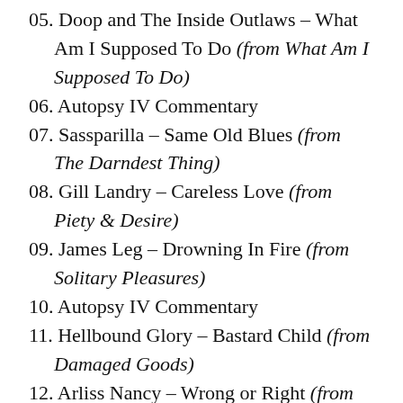05. Doop and The Inside Outlaws – What Am I Supposed To Do (from What Am I Supposed To Do)
06. Autopsy IV Commentary
07. Sassparilla – Same Old Blues (from The Darndest Thing)
08. Gill Landry – Careless Love (from Piety & Desire)
09. James Leg – Drowning In Fire (from Solitary Pleasures)
10. Autopsy IV Commentary
11. Hellbound Glory – Bastard Child (from Damaged Goods)
12. Arliss Nancy – Wrong or Right (from Dance To Forget)
13. Have Gun Will Travel – To The Victor Goes The Spoils (from Manse Arithmetic)